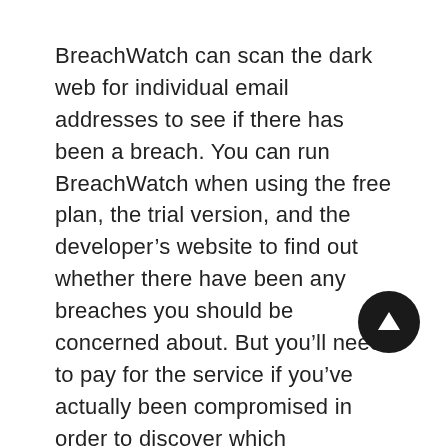BreachWatch can scan the dark web for individual email addresses to see if there has been a breach. You can run BreachWatch when using the free plan, the trial version, and the developer's website to find out whether there have been any breaches you should be concerned about. But you'll need to pay for the service if you've actually been compromised in order to discover which passwords you need to change.